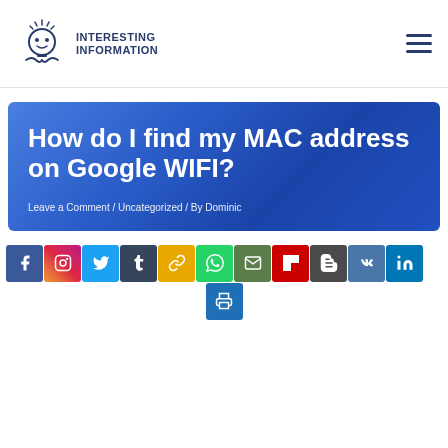Interesting Information
How do I find my MAC address on Google WIFI?
Leave a Comment / Uncategorized / By Dominic
[Figure (infographic): Row of social media sharing icons: Facebook, Instagram, Twitter, Tumblr, Copy Link, WhatsApp, Email, Flipboard, Blogger, VK, LinkedIn, and a second row with a Print/Share icon]